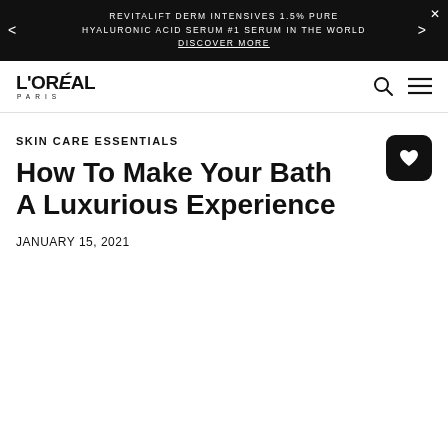REVITALIFT DERM INTENSIVES 1.5% PURE HYALURONIC ACID SERUM #1 SERUM IN THE WORLD DISCOVER MORE
[Figure (logo): L'ORÉAL PARIS logo in black text]
SKIN CARE ESSENTIALS
How To Make Your Bath A Luxurious Experience
JANUARY 15, 2021